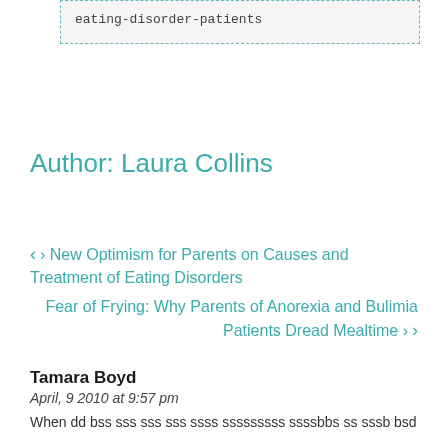eating-disorder-patients
Author: Laura Collins
‹ New Optimism for Parents on Causes and Treatment of Eating Disorders
Fear of Frying: Why Parents of Anorexia and Bulimia Patients Dread Mealtime ›
Tamara Boyd
April, 9 2010 at 9:57 pm
When dd bss sss sss sss ssss sssssssss ssssbbs ss sssb bsd